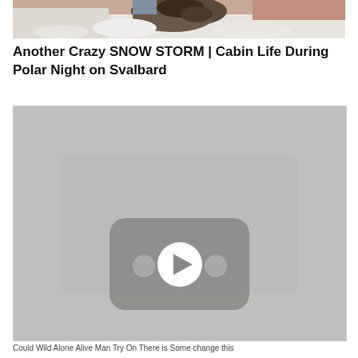[Figure (photo): Top portion of a photo showing a snowy scene with what appears to be an animal or person in snow, cropped at top of page]
Another Crazy SNOW STORM | Cabin Life During Polar Night on Svalbard
[Figure (screenshot): A YouTube-style video thumbnail placeholder showing a grey background with a YouTube play button icon (rounded rectangle with play triangle)]
Could Wild Alone Alive Man Try On There is Some change this